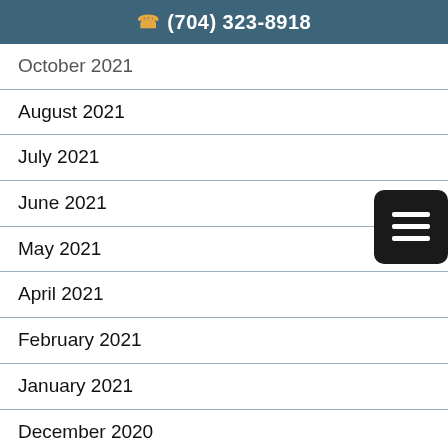(704) 323-8918
October 2021
August 2021
July 2021
June 2021
May 2021
April 2021
February 2021
January 2021
December 2020
November 2020
April 2020